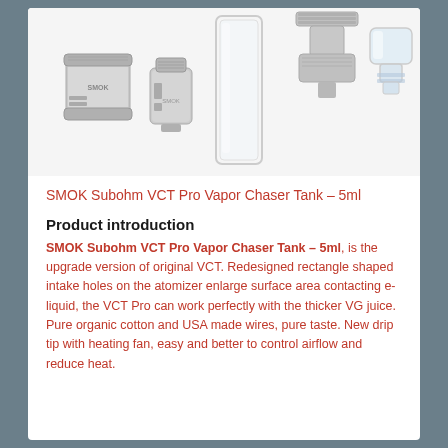[Figure (photo): Exploded view of SMOK Subohm VCT Pro Vapor Chaser Tank components: tank base/body, coil head, glass tube, top cap with drip tip connector, and drip tip, all in stainless steel and glass finish]
SMOK Subohm VCT Pro Vapor Chaser Tank – 5ml
Product introduction
SMOK Subohm VCT Pro Vapor Chaser Tank – 5ml, is the upgrade version of original VCT. Redesigned rectangle shaped intake holes on the atomizer enlarge surface area contacting e-liquid, the VCT Pro can work perfectly with the thicker VG juice. Pure organic cotton and USA made wires, pure taste. New drip tip with heating fan, easy and better to control airflow and reduce heat.